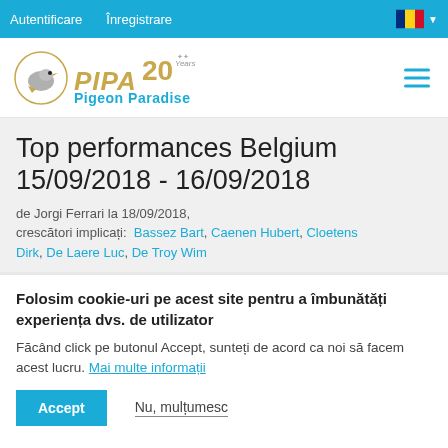Autentificare   Înregistrare
[Figure (logo): PIPA Pigeon Paradise logo with pigeon illustration and 20 Years badge]
Top performances Belgium 15/09/2018 - 16/09/2018
de Jorgi Ferrari la 18/09/2018, crescători implicați: Bassez Bart, Caenen Hubert, Cloetens Dirk, De Laere Luc, De Troy Wim
Folosim cookie-uri pe acest site pentru a îmbunătăți experiența dvs. de utilizator
Făcând click pe butonul Accept, sunteți de acord ca noi să facem acest lucru. Mai multe informații
Accept   Nu, mulțumesc